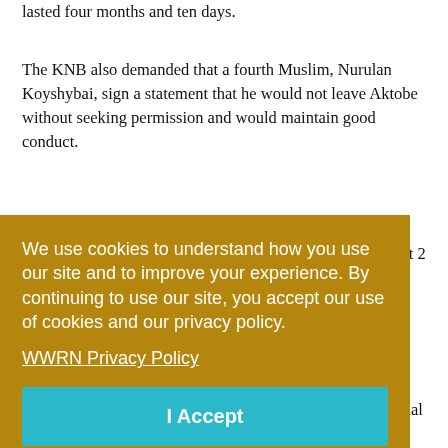lasted four months and ten days.
The KNB also demanded that a fourth Muslim, Nurulan Koyshybai, sign a statement that he would not leave Aktobe without seeking permission and would maintain good conduct.
The KNB secret police completed the investigation of the case against the four under Criminal Code Article 405, Part 2 for alleged Tabligh Jamaat membership. Once its case was complete the KNB handed it over to Aktobe Prosecutor's
[Figure (other): Cookie consent banner overlay with gold/amber background. Text reads: 'We use cookies to understand how you use our site and to improve your experience. By continuing to use our site, you accept our use of cookies and our privacy policy.' with a 'WWRN Privacy Policy' link and a teal 'I Accept' button.]
custody were released in the courtroom at the end of the trial